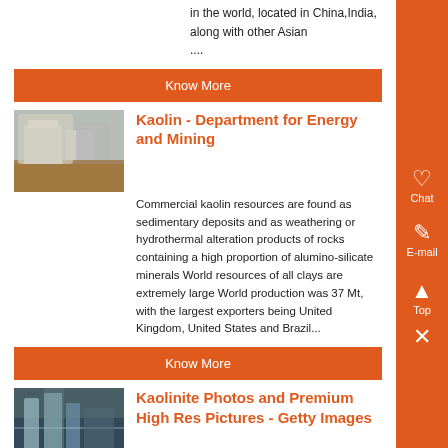in the world, located in China,India, along with other Asian ....
Know More
[Figure (photo): Photo of kaolin industrial processing equipment]
Kaolin - Department for Energy and Mining
Commercial kaolin resources are found as sedimentary deposits and as weathering or hydrothermal alteration products of rocks containing a high proportion of alumino-silicate minerals World resources of all clays are extremely large World production was 37 Mt, with the largest exporters being United Kingdom, United States and Brazil...
Know More
[Figure (photo): Photo of kaolinite industrial machinery or ore]
Kaolinite Photos and Premium High Res Pictures - Getty Images
Browse 246 kaolinite stock photos and images available, or start a new search to explore more stock photos and imag white gold - kaolinite stock pictures, royalty-free photos & imag bauxite, aluminum ore, mined in arkansas, close up -